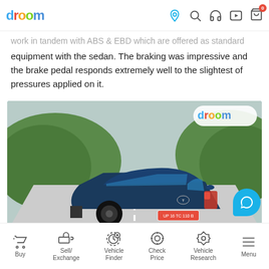droom navigation bar with logo and icons
work in tandem with ABS & EBD which are offered as standard equipment with the sedan. The braking was impressive and the brake pedal responds extremely well to the slightest of pressures applied on it.
[Figure (photo): Rear three-quarter view of a dark blue Tata sedan (UP 16 TC 110 B) driving on a road with green hills in the background. Droom watermark visible in top-right corner of image.]
0  0  Write Comment  Share
Buy | Sell/Exchange | Vehicle Finder | Check Price | Vehicle Research | Menu